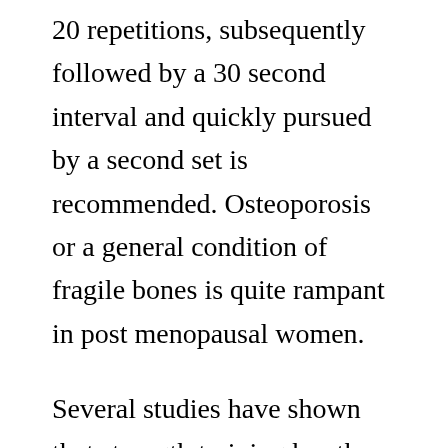20 repetitions, subsequently followed by a 30 second interval and quickly pursued by a second set is recommended. Osteoporosis or a general condition of fragile bones is quite rampant in post menopausal women.
Several studies have shown that strength training has the ability for increasing bone mass. Exercises that focus force on your bones are the best to build them. Weight bearing exercises are ideal here. Some exercises that work well include towel